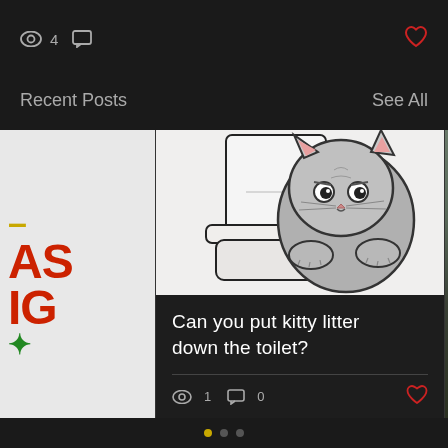4 views, 0 comments, heart icon
Recent Posts
See All
[Figure (illustration): Cartoon illustration of a fluffy gray cat sitting on a white toilet, looking at the viewer with large googly eyes. The toilet tank is visible behind the cat.]
Can you put kitty litter down the toilet?
1 view, 0 comments, heart icon
Pagination dots